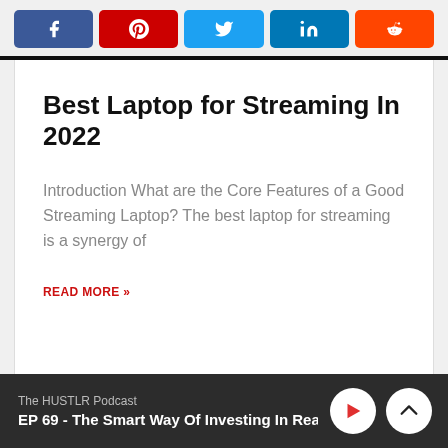[Figure (other): Social share buttons row: Facebook (blue), Pinterest (red), Twitter (light blue), LinkedIn (dark blue), Reddit (orange)]
Best Laptop for Streaming In 2022
Introduction What are the Core Features of a Good Streaming Laptop? The best laptop for streaming is a synergy of
READ MORE »
The HUSTLR Podcast
EP 69 - The Smart Way Of Investing In Real Es